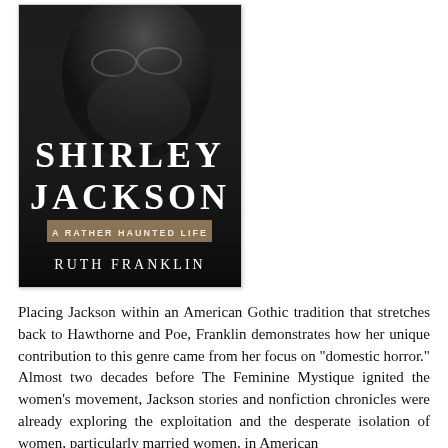[Figure (illustration): Book cover of 'Shirley Jackson: A Rather Haunted Life' by Ruth Franklin. Dark grayscale photograph of a person's face in the background. Large white serif text reads 'SHIRLEY JACKSON'. A tan/gold banner reads 'A RATHER HAUNTED LIFE' in small caps. Below in white sans-serif: 'RUTH FRANKLIN'.]
Placing Jackson within an American Gothic tradition that stretches back to Hawthorne and Poe, Franklin demonstrates how her unique contribution to this genre came from her focus on "domestic horror." Almost two decades before The Feminine Mystique ignited the women's movement, Jackson stories and nonfiction chronicles were already exploring the exploitation and the desperate isolation of women, particularly married women, in American